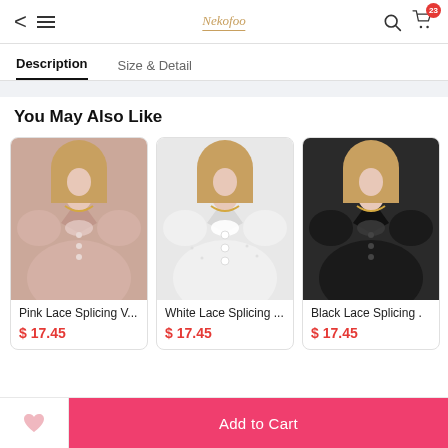Nekofoo — navigation header with back, menu, logo, search, cart (23)
Description  |  Size & Detail
You May Also Like
[Figure (photo): Pink Lace Splicing V-neck blouse product photo]
Pink Lace Splicing V...
$ 17.45
[Figure (photo): White Lace Splicing V-neck blouse product photo]
White Lace Splicing ...
$ 17.45
[Figure (photo): Black Lace Splicing V-neck blouse product photo]
Black Lace Splicing ...
$ 17.45
Add to Cart